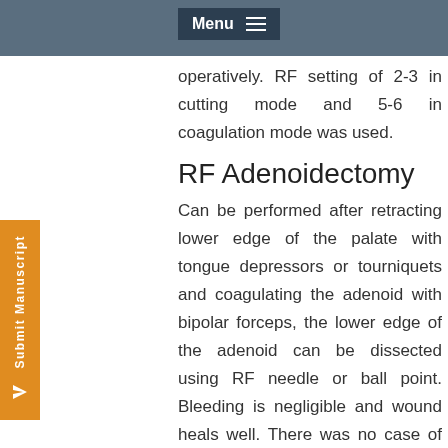Menu
were low post operatively. also deepened and stiffened post operatively. RF setting of 2-3 in cutting mode and 5-6 in coagulation mode was used.
RF Adenoidectomy
Can be performed after retracting lower edge of the palate with tongue depressors or tourniquets and coagulating the adenoid with bipolar forceps, the lower edge of the adenoid can be dissected using RF needle or ball point. Bleeding is negligible and wound heals well. There was no case of postoperative haemorrhage. Ideal for recurrent adenoids. RF setting of 5-6 in the coagulation mode.
RF Palate